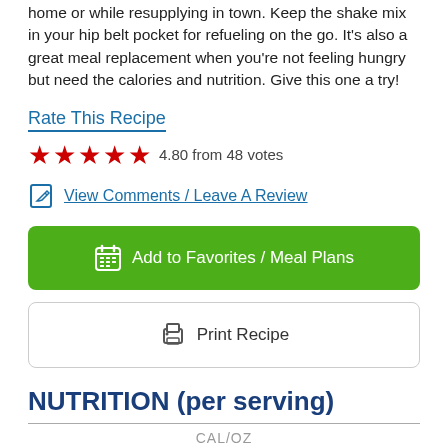home or while resupplying in town. Keep the shake mix in your hip belt pocket for refueling on the go. It's also a great meal replacement when you're not feeling hungry but need the calories and nutrition. Give this one a try!
Rate This Recipe
4.80 from 48 votes
View Comments / Leave A Review
Add to Favorites / Meal Plans
Print Recipe
NUTRITION (per serving)
CAL/OZ
128